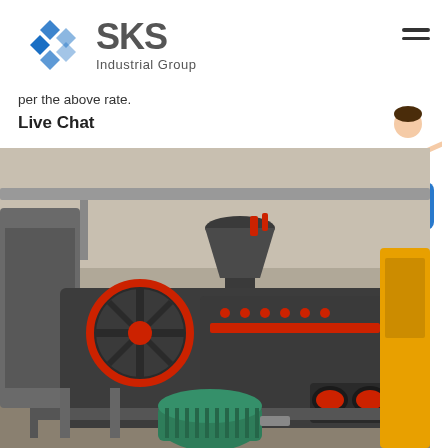[Figure (logo): SKS Industrial Group logo with blue diamond S icon and grey SKS text]
per the above rate.
Live Chat
[Figure (photo): Industrial heavy machinery (double roller crusher) in a factory/warehouse setting, dark grey and red components with teal electric motor in foreground, yellow machine visible on right, overhead cranes and other machinery in background]